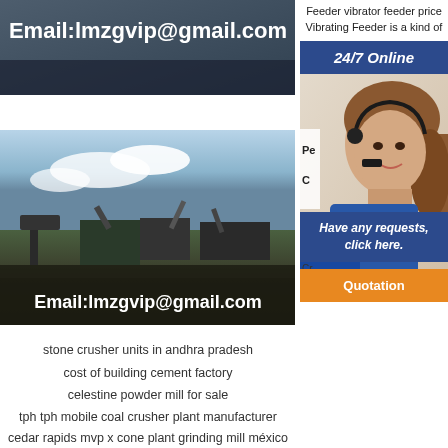[Figure (photo): Dark image with Email:lmzgvip@gmail.com text overlay]
Feeder vibrator feeder price Vibrating Feeder is a kind of
24/7 Online
[Figure (photo): Mining/crushing machinery in field with Email:lmzgvip@gmail.com overlay]
[Figure (photo): Customer service agent woman with headset]
Pe
C
Sm
Cu
Cr
Have any requests, click here.
Quotation
stone crusher units in andhra pradesh
cost of building cement factory
celestine powder mill for sale
tph tph mobile coal crusher plant manufacturer
cedar rapids mvp x cone plant grinding mill méxico